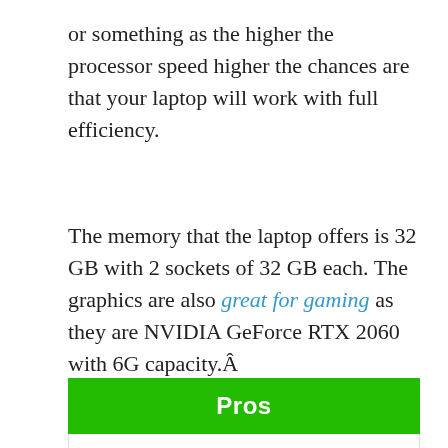or something as the higher the processor speed higher the chances are that your laptop will work with full efficiency.
The memory that the laptop offers is 32 GB with 2 sockets of 32 GB each. The graphics are also great for gaming as they are NVIDIA GeForce RTX 2060 with 6G capacity.Â
| Pros |
| --- |